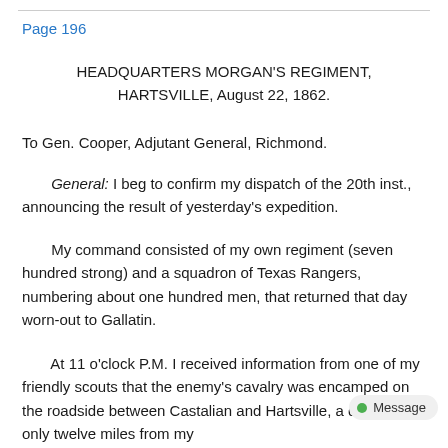Page 196
HEADQUARTERS MORGAN'S REGIMENT,
HARTSVILLE, August 22, 1862.
To Gen. Cooper, Adjutant General, Richmond.
General: I beg to confirm my dispatch of the 20th inst., announcing the result of yesterday's expedition.
My command consisted of my own regiment (seven hundred strong) and a squadron of Texas Rangers, numbering about one hundred men, that returned that day worn-out to Gallatin.
At 11 o'clock P.M. I received information from one of my friendly scouts that the enemy's cavalry was encamped on the roadside between Castalian and Hartsville, a distance of only twelve miles from my